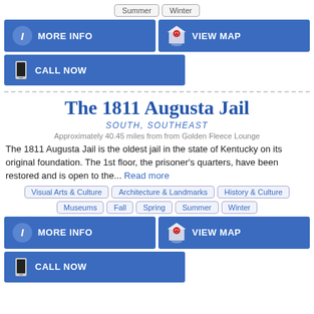Summer  Winter
MORE INFO
VIEW MAP
CALL NOW
The 1811 Augusta Jail
SOUTH, SOUTHEAST
Approximately 40.45 miles from from Golden Fleece Lounge
The 1811 Augusta Jail is the oldest jail in the state of Kentucky on its original foundation. The 1st floor, the prisoner's quarters, have been restored and is open to the... Read more
Visual Arts & Culture  Architecture & Landmarks  History & Culture  Museums  Fall  Spring  Summer  Winter
MORE INFO
VIEW MAP
CALL NOW